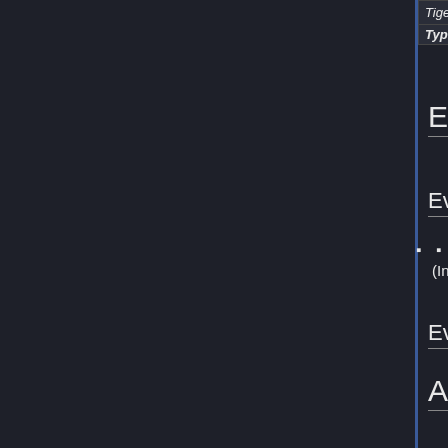| Name | Ref | Japanese | Romanization |
| --- | --- | --- | --- |
| Tiger Typhoon | [3] | タイガー台風 | Taigā Taifū |
Evolution [edit]
Evolves From [edit]
Fusion between the Big Death-Stars (Incomplete[3] or with Apollomon)[1]
Evolves To [edit]
Appearances [edit]
Anime [edit]
Digimon Xros Wars: The Evil Death Generals and the Seven Kingdoms [edit]